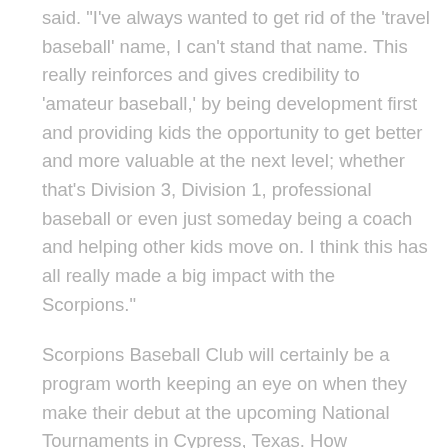said. "I've always wanted to get rid of the 'travel baseball' name, I can't stand that name. This really reinforces and gives credibility to 'amateur baseball,' by being development first and providing kids the opportunity to get better and more valuable at the next level; whether that's Division 3, Division 1, professional baseball or even just someday being a coach and helping other kids move on. I think this has all really made a big impact with the Scorpions."
Scorpions Baseball Club will certainly be a program worth keeping an eye on when they make their debut at the upcoming National Tournaments in Cypress, Texas. How significant of an opportunity will it be for them to match up against some of the top competition in the country?
"I think it's huge," Rikeman said. "It's one of the things